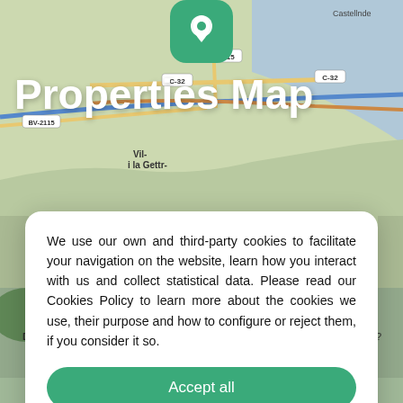[Figure (screenshot): Map background showing coastal area near Vilanova i la Geltrú with roads C-15, C-32, BV-2115, and a green location pin icon at the top center]
Properties Map
We use our own and third-party cookies to facilitate your navigation on the website, learn how you interact with us and collect statistical data. Please read our Cookies Policy to learn more about the cookies we use, their purpose and how to configure or reject them, if you consider it so.
Accept all
Manage Cookies
Reject